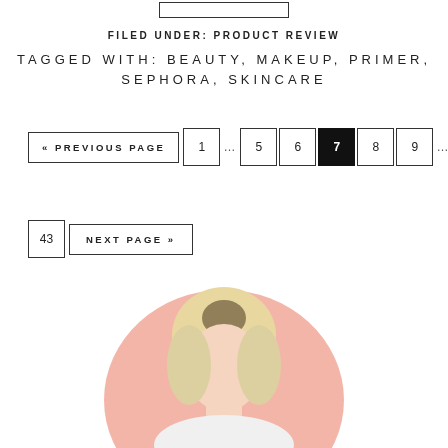FILED UNDER: PRODUCT REVIEW
TAGGED WITH: BEAUTY, MAKEUP, PRIMER, SEPHORA, SKINCARE
« PREVIOUS PAGE  1 … 5  6  7  8  9  …  43  NEXT PAGE »
[Figure (photo): Circular portrait photo of a blonde woman on a pink/salmon circular background, cropped at bottom of frame]